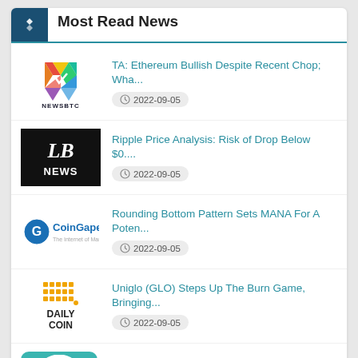Most Read News
TA: Ethereum Bullish Despite Recent Chop; Wha... © 2022-09-05
Ripple Price Analysis: Risk of Drop Below $0.... © 2022-09-05
Rounding Bottom Pattern Sets MANA For A Poten... © 2022-09-05
Uniglo (GLO) Steps Up The Burn Game, Bringing... © 2022-09-05
Polkadot price analysis: Bullish price action... © 2022-09-05